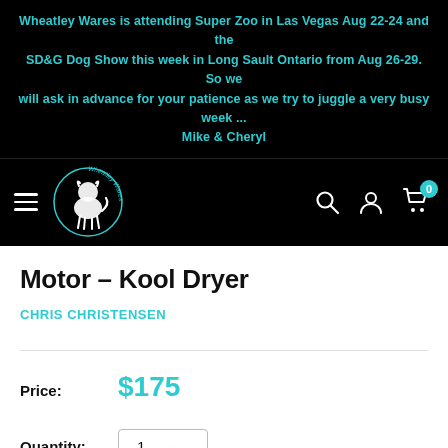Wheatley Wares is attending Super Zoo in Las Vegas Aug 22-24 and the SD&G Dog Show this week in Long Sault Ontario from Aug 26-29. So we will ask in advance for your patience as we try to juggle a very busy week ... Mike & Cheryl
[Figure (logo): Wheatley Wares logo — circular logo with a dog/cat silhouette, white outline on black, with cursive 'Wheatley Wares' text around the circle]
Motor - Kool Dryer
CHRIS CHRISTENSEN
Price: $175
Quantity: 1